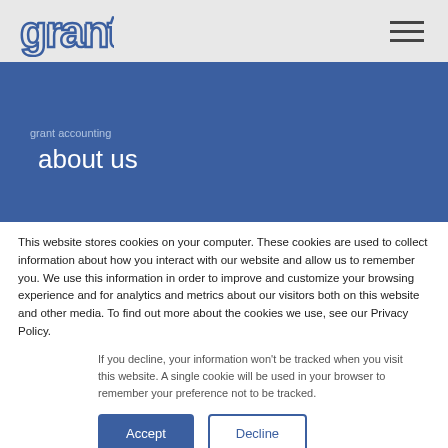grant | about us
about us
This website stores cookies on your computer. These cookies are used to collect information about how you interact with our website and allow us to remember you. We use this information in order to improve and customize your browsing experience and for analytics and metrics about our visitors both on this website and other media. To find out more about the cookies we use, see our Privacy Policy.
If you decline, your information won't be tracked when you visit this website. A single cookie will be used in your browser to remember your preference not to be tracked.